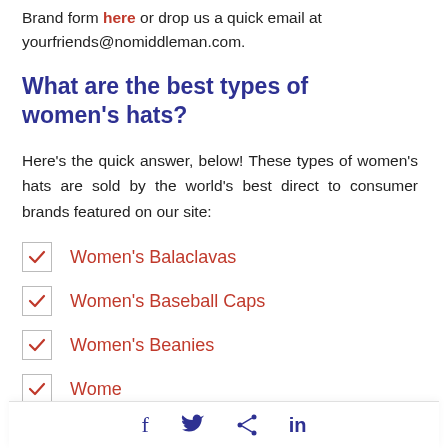Brand form here or drop us a quick email at yourfriends@nomiddleman.com.
What are the best types of women's hats?
Here's the quick answer, below! These types of women's hats are sold by the world's best direct to consumer brands featured on our site:
Women's Balaclavas
Women's Baseball Caps
Women's Beanies
Wome...